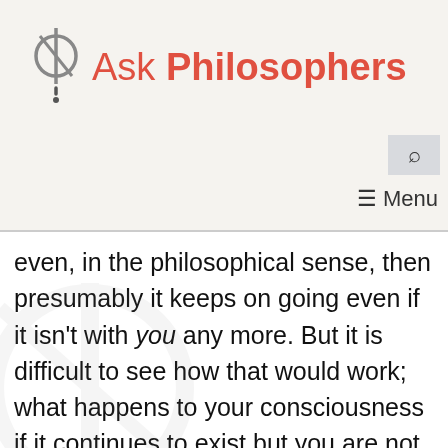[Figure (logo): Ask Philosophers logo with a stylized phi symbol and exclamation mark icon, with text 'Ask Philosophers' in red]
even, in the philosophical sense, then presumably it keeps on going even if it isn't with you any more. But it is difficult to see how that would work; what happens to your consciousness if it continues to exist but you are not conscious of it? It is hard to say as Aristotle would say! On the other hand it is